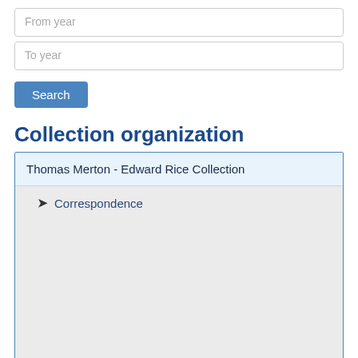From year
To year
Search
Collection organization
Thomas Merton - Edward Rice Collection
Correspondence